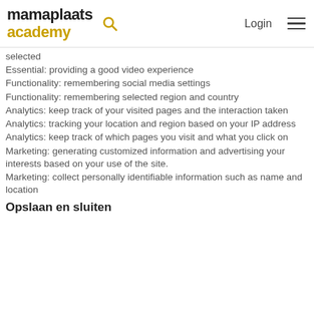mamaplaats academy
selected
Essential: providing a good video experience
Functionality: remembering social media settings
Functionality: remembering selected region and country
Analytics: keep track of your visited pages and the interaction taken
Analytics: tracking your location and region based on your IP address
Analytics: keep track of which pages you visit and what you click on
Marketing: generating customized information and advertising your interests based on your use of the site.
Marketing: collect personally identifiable information such as name and location
Opslaan en sluiten